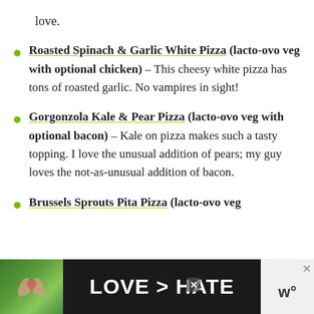love.
Roasted Spinach & Garlic White Pizza (lacto-ovo veg with optional chicken) – This cheesy white pizza has tons of roasted garlic. No vampires in sight!
Gorgonzola Kale & Pear Pizza (lacto-ovo veg with optional bacon) – Kale on pizza makes such a tasty topping. I love the unusual addition of pears; my guy loves the not-as-unusual addition of bacon.
Brussels Sprouts Pita Pizza (lacto-ovo veg
[Figure (photo): Advertisement banner at bottom of page showing hands forming a heart shape against a green background with text LOVE > HATE]